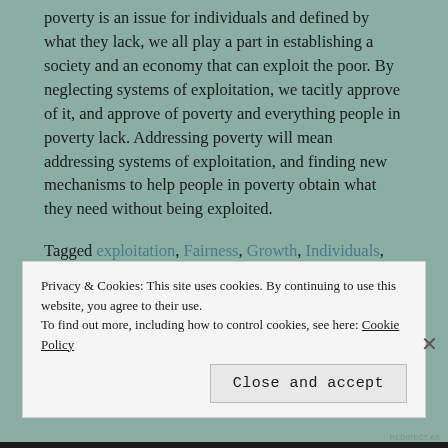poverty is an issue for individuals and defined by what they lack, we all play a part in establishing a society and an economy that can exploit the poor. By neglecting systems of exploitation, we tacitly approve of it, and approve of poverty and everything people in poverty lack. Addressing poverty will mean addressing systems of exploitation, and finding new mechanisms to help people in poverty obtain what they need without being exploited.
Tagged exploitation, Fairness, Growth, Individuals, Mobility, Poverty     7 Comments
Privacy & Cookies: This site uses cookies. By continuing to use this website, you agree to their use. To find out more, including how to control cookies, see here: Cookie Policy
Close and accept